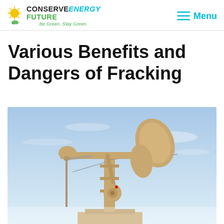CONSERVE ENERGY FUTURE — Be Green. Stay Green. | Menu
Various Benefits and Dangers of Fracking
[Figure (photo): Oil pump jack (pumpjack) against a blue sky background, beige/tan colored metal structure used in oil extraction / fracking operations]